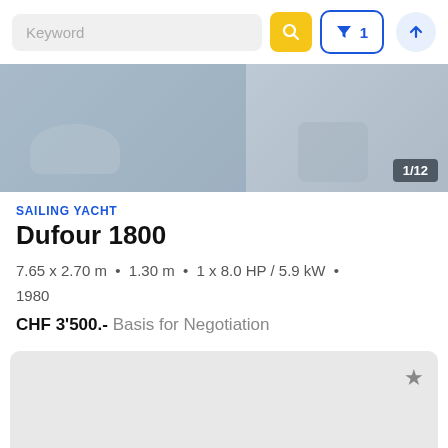[Figure (screenshot): Search bar UI with keyword input, yellow search button, blue filter button with badge '1', and light blue up-arrow button]
[Figure (photo): Sailing yacht photo — greyed out boat image with image counter badge '1/12' in bottom right corner]
SAILING YACHT
Dufour 1800
7.65 x 2.70 m  •  1.30 m  •  1 x 8.0 HP / 5.9 kW  •  1980
CHF 3'500.-  Basis for Negotiation
[Figure (screenshot): Second listing card placeholder — light grey rounded rectangle with a star/bookmark icon in the top right]